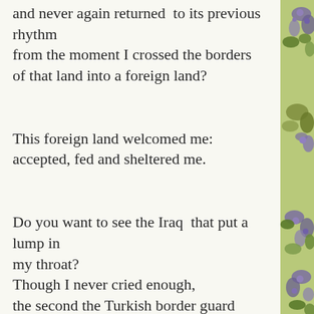and never again returned  to its previous rhythm from the moment I crossed the borders of that land into a foreign land?
This foreign land welcomed me: accepted, fed and sheltered me.
Do you want to see the Iraq  that put a lump in my throat? Though I never cried enough, the second the Turkish border guard stamped that page on my passport allowing me into their land; I released my tears.